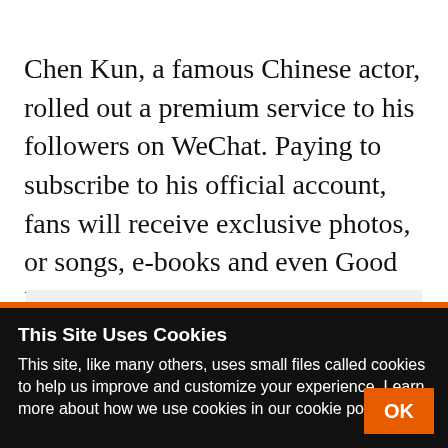Chen Kun, a famous Chinese actor, rolled out a premium service to his followers on WeChat. Paying to subscribe to his official account, fans will receive exclusive photos, or songs, e-books and even Good Night voice messages from him.
[Figure (other): Light gray placeholder image block]
This Site Uses Cookies
This site, like many others, uses small files called cookies to help us improve and customize your experience. Learn more about how we use cookies in our cookie policy.